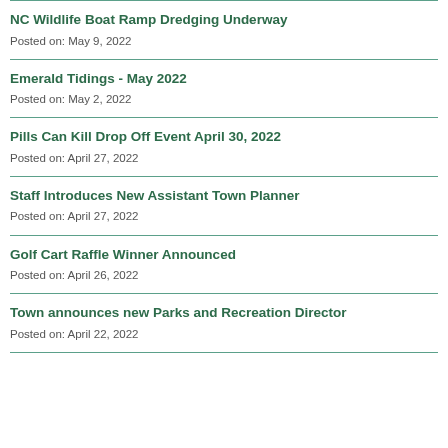NC Wildlife Boat Ramp Dredging Underway
Posted on: May 9, 2022
Emerald Tidings - May 2022
Posted on: May 2, 2022
Pills Can Kill Drop Off Event April 30, 2022
Posted on: April 27, 2022
Staff Introduces New Assistant Town Planner
Posted on: April 27, 2022
Golf Cart Raffle Winner Announced
Posted on: April 26, 2022
Town announces new Parks and Recreation Director
Posted on: April 22, 2022